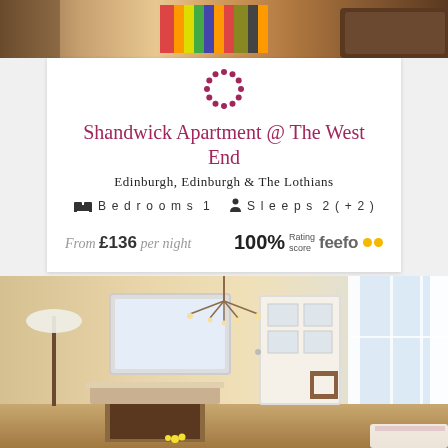[Figure (photo): Top portion of a holiday apartment listing page showing a room interior photograph (partially cropped at top)]
[Figure (logo): Circular snowflake/flower logo in dark red/maroon for a holiday rental company]
Shandwick Apartment @ The West End
Edinburgh, Edinburgh & The Lothians
Bedrooms 1   Sleeps 2 (+2)
From £136 per night
100% Rating score feefo
[Figure (photo): Interior photo of a bright apartment room with fireplace, chandelier, mirror, and large bay windows with white curtains]